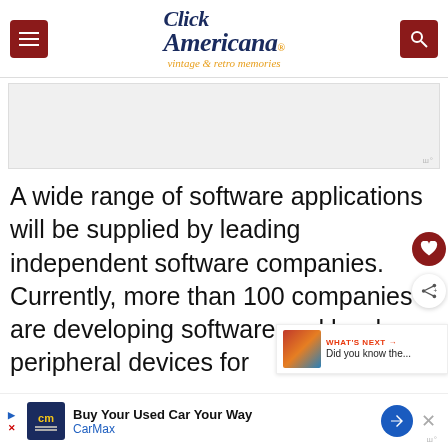[Figure (logo): Click Americana vintage & retro memories website header with hamburger menu icon on left (dark red), logo in center (italic serif navy/gold), and search icon on right (dark red)]
[Figure (other): Advertisement placeholder area with Mediavine watermark in bottom right]
A wide range of software applications will be supplied by leading independent software companies. Currently, more than 100 companies are developing software and hardware peripheral devices for
[Figure (other): Bottom advertisement bar: CarMax - Buy Your Used Car Your Way]
[Figure (other): What's Next sidebar widget with thumbnail and text 'Did you know the...']